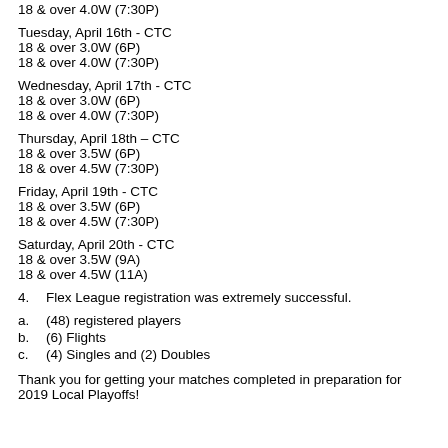18 & over 4.0W (7:30P)
Tuesday, April 16th - CTC
18 & over 3.0W (6P)
18 & over 4.0W (7:30P)
Wednesday, April 17th - CTC
18 & over 3.0W (6P)
18 & over 4.0W (7:30P)
Thursday, April 18th – CTC
18 & over 3.5W (6P)
18 & over 4.5W (7:30P)
Friday, April 19th - CTC
18 & over 3.5W (6P)
18 & over 4.5W (7:30P)
Saturday, April 20th - CTC
18 & over 3.5W (9A)
18 & over 4.5W (11A)
4.   Flex League registration was extremely successful.
a.   (48) registered players
b.   (6) Flights
c.   (4) Singles and (2) Doubles
Thank you for getting your matches completed in preparation for 2019 Local Playoffs!